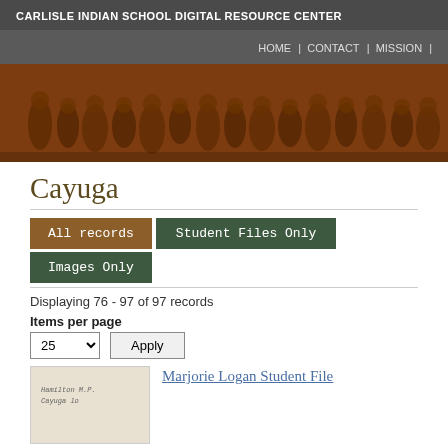CARLISLE INDIAN SCHOOL DIGITAL RESOURCE CENTER
HOME | CONTACT | MISSION |
[Figure (photo): Sepia-toned historical photograph of a group of Native American individuals seated and standing together outdoors]
Cayuga
All records | Student Files Only | Images Only
Displaying 76 - 97 of 97 records
Items per page
25  Apply
Marjorie Logan Student File